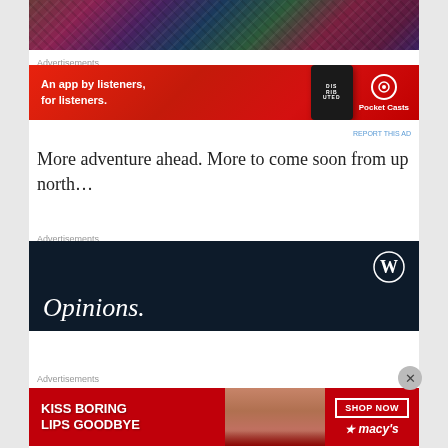[Figure (photo): Colorful woven textile or rug pattern with dark reds, purples, blues and greens]
Advertisements
[Figure (other): Pocket Casts advertisement: red background, phone image, text 'An app by listeners, for listeners.' with Pocket Casts logo]
REPORT THIS AD
More adventure ahead. More to come soon from up north…
Advertisements
[Figure (other): WordPress advertisement: dark navy background, WordPress W logo, text 'Opinions.']
Advertisements
[Figure (other): Macy's advertisement: red background, woman's face with red lips, 'KISS BORING LIPS GOODBYE', SHOP NOW button, Macy's logo]